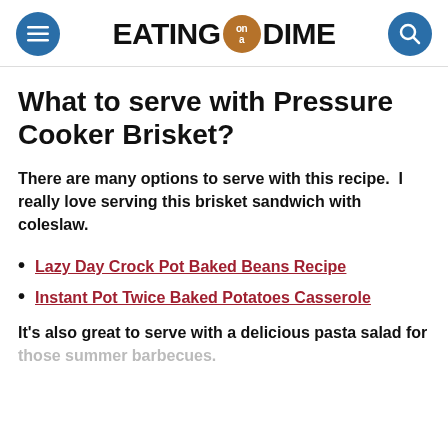EATING on a DIME
What to serve with Pressure Cooker Brisket?
There are many options to serve with this recipe.  I really love serving this brisket sandwich with coleslaw.
Lazy Day Crock Pot Baked Beans Recipe
Instant Pot Twice Baked Potatoes Casserole
It's also great to serve with a delicious pasta salad for those summer barbecues.